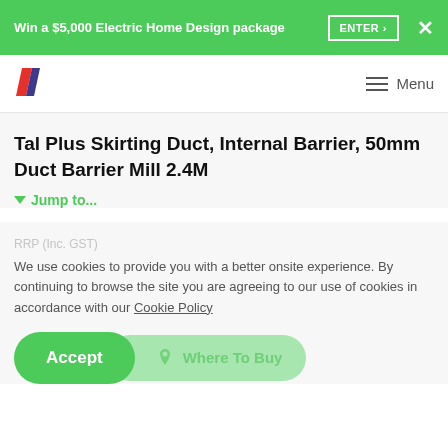Win a $5,000 Electric Home Design package  ENTER ›  ✕
[Figure (logo): Tal Plus brand logo with two diagonal stripes, red and dark blue/purple]
☰ Menu
Tal Plus Skirting Duct, Internal Barrier, 50mm Duct Barrier Mill 2.4M
▼ Jump to...
RRP (Inc. GST)
We use cookies to provide you with a better onsite experience. By continuing to browse the site you are agreeing to our use of cookies in accordance with our Cookie Policy
Accept   📍 Where To Buy